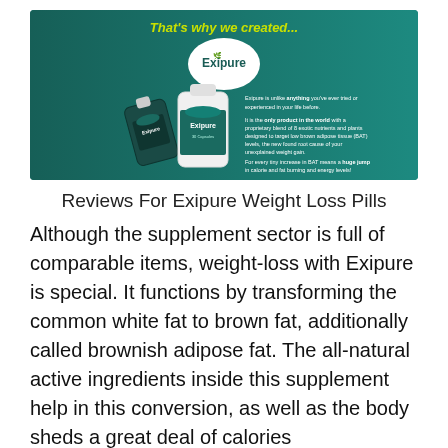[Figure (photo): Exipure product banner on teal/dark green background. Yellow text at top reads 'That's why we created...' with a white Exipure logo leaf. Two product bottles (Exipure supplement). Small text describes the product as unlike anything tried before, the only product in the world with a proprietary blend of 8 exotic nutrients and plants designed to target low brown adipose tissue (BAT) levels, and mentions huge jump in calorie and fat burning and energy levels.]
Reviews For Exipure Weight Loss Pills
Although the supplement sector is full of comparable items, weight-loss with Exipure is special. It functions by transforming the common white fat to brown fat, additionally called brownish adipose fat. The all-natural active ingredients inside this supplement help in this conversion, as well as the body sheds a great deal of calories